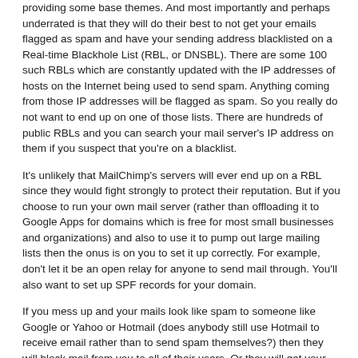providing some base themes. And most importantly and perhaps underrated is that they will do their best to not get your emails flagged as spam and have your sending address blacklisted on a Real-time Blackhole List (RBL, or DNSBL). There are some 100 such RBLs which are constantly updated with the IP addresses of hosts on the Internet being used to send spam. Anything coming from those IP addresses will be flagged as spam. So you really do not want to end up on one of those lists. There are hundreds of public RBLs and you can search your mail server's IP address on them if you suspect that you're on a blacklist.
It's unlikely that MailChimp's servers will ever end up on a RBL since they would fight strongly to protect their reputation. But if you choose to run your own mail server (rather than offloading it to Google Apps for domains which is free for most small businesses and organizations) and also to use it to pump out large mailing lists then the onus is on you to set it up correctly. For example, don't let it be an open relay for anyone to send mail through. You'll also want to set up SPF records for your domain.
If you mess up and your mails look like spam to someone like Google or Yahoo or Hotmail (does anybody still use Hotmail to receive email rather than to send spam themselves?) then they will block mail from you to all of their users. Or they will get your mails but they will automatically go into their spam folders. Then you will be forced to thrust yourself into the Kafkaesque world of customer support at companies which don't have retail stores for you to visit, and which you aren't really a customer of to begin with.